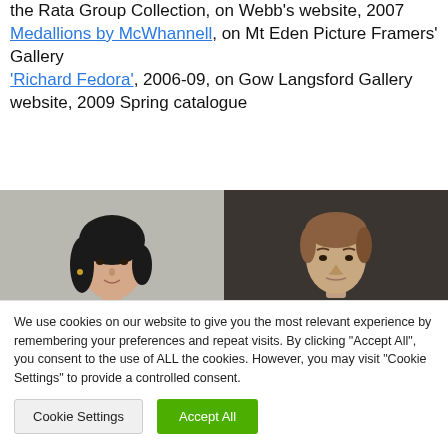the Rata Group Collection, on Webb's website, 2007
Medallions by McWhannell, on Mt Eden Picture Framers' Gallery
'Richard Fedora', 2006-09, on Gow Langsford Gallery website, 2009 Spring catalogue
[Figure (photo): Portrait photo of a woman with dark hair against a light background]
[Figure (photo): Portrait photo of a man against a dark background]
We use cookies on our website to give you the most relevant experience by remembering your preferences and repeat visits. By clicking "Accept All", you consent to the use of ALL the cookies. However, you may visit "Cookie Settings" to provide a controlled consent.